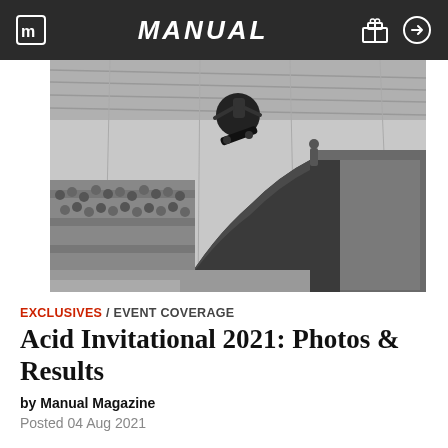MANUAL
[Figure (photo): Black and white fisheye lens photo of a skateboarder performing an aerial trick above a halfpipe ramp inside an indoor skate park, with a large crowd of spectators watching from the left side.]
EXCLUSIVES / EVENT COVERAGE
Acid Invitational 2021: Photos & Results
by Manual Magazine
Posted 04 Aug 2021
[Figure (photo): Partial bottom strip showing a color photograph, partially cropped at the bottom of the page.]